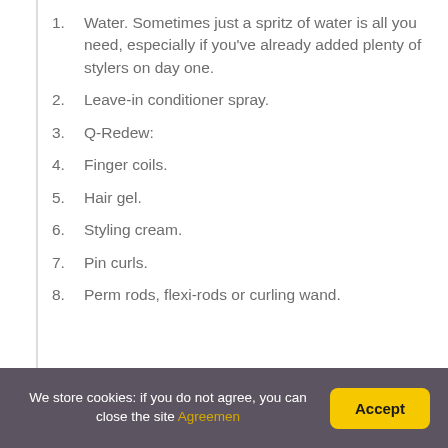1. Water. Sometimes just a spritz of water is all you need, especially if you've already added plenty of stylers on day one.
2. Leave-in conditioner spray.
3. Q-Redew:
4. Finger coils.
5. Hair gel.
6. Styling cream.
7. Pin curls.
8. Perm rods, flexi-rods or curling wand.
We store cookies: if you do not agree, you can close the site Agreemen